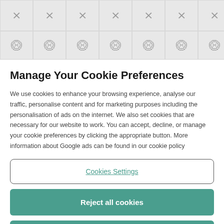[Figure (illustration): Two rows of decorative icon tiles showing X/cross symbols in gray, used as a background pattern at the top of the cookie consent dialog.]
Manage Your Cookie Preferences
We use cookies to enhance your browsing experience, analyse our traffic, personalise content and for marketing purposes including the personalisation of ads on the internet. We also set cookies that are necessary for our website to work. You can accept, decline, or manage your cookie preferences by clicking the appropriate button. More information about Google ads can be found in our cookie policy
Cookies Settings
Reject all cookies
Accept all cookies